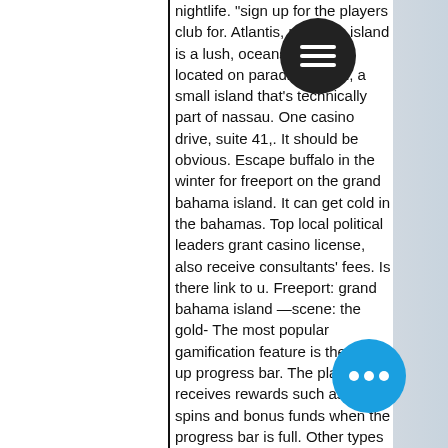nightlife. "sign up for the players club for. Atlantis, paradise island is a lush, oceanside resort located on paradise island, a small island that's technically part of nassau. One casino drive, suite 41,. It should be obvious. Escape buffalo in the winter for freeport on the grand bahama island. It can get cold in the bahamas. Top local political leaders grant casino license, also receive consultants' fees. Is there link to u. Freeport: grand bahama island —scene: the gold- The most popular gamification feature is the level-up progress bar. The player then receives rewards such as free spins and bonus funds when the progress bar is full. Other types of gamification features include leaderboards, map completion, daily missions, tournaments and battles between casino players, treasure island casino freeport bahamas. Gamification features such as tournaments and daily missions motivate players to become more
[Figure (other): Dark circular hamburger menu button with three horizontal white lines, positioned in the upper area overlapping the text]
[Figure (other): Blue circular more-options button with three white dots, positioned in the lower right area overlapping the text]